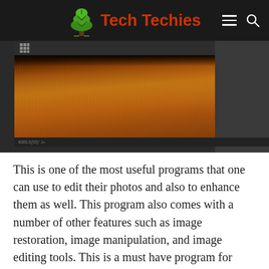Tech Techies
[Figure (screenshot): Screenshot of Adobe Photoshop application showing a photo of a golden field of tall grass/wheat, with dark application chrome, toolbar at top, and side panels.]
This is one of the most useful programs that one can use to edit their photos and also to enhance them as well. This program also comes with a number of other features such as image restoration, image manipulation, and image editing tools. This is a must have program for every one who wishes to edit photos using Photoshop.
With this program, you will find that it is easier to edit and manipulate your photos than what it used to be years ago with the help of a word processor or